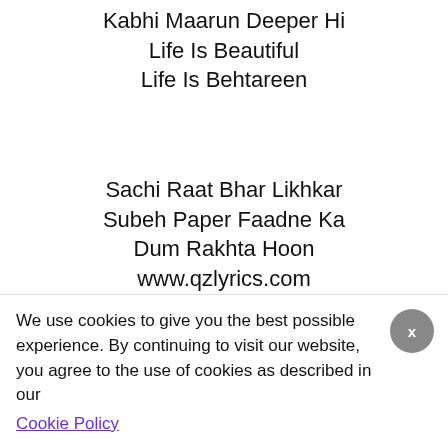Kabhi Maarun Deeper Hi
Life Is Beautiful
Life Is Behtareen
Sachi Raat Bhar Likhkar
Subeh Paper Faadne Ka
Dum Rakhta Hoon
www.qzlyrics.com
Gutsy
Hoon Main Tabhi Calm Zyada
We use cookies to give you the best possible experience. By continuing to visit our website, you agree to the use of cookies as described in our Cookie Policy